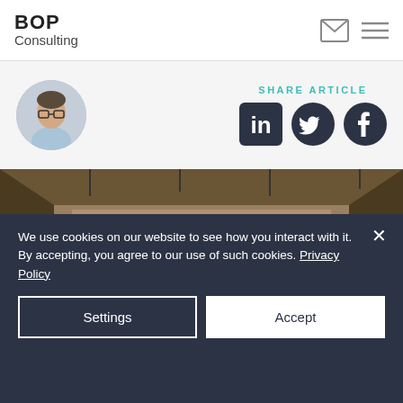BOP Consulting
[Figure (logo): BOP Consulting logo with mail and hamburger menu icons]
[Figure (photo): Circular avatar photo of a man with glasses in a light blue shirt]
SHARE ARTICLE
[Figure (infographic): LinkedIn, Twitter, and Facebook social share icons]
[Figure (photo): Interior photo of a concert hall with orchestra and choir]
We use cookies on our website to see how you interact with it. By accepting, you agree to our use of such cookies. Privacy Policy
Settings
Accept